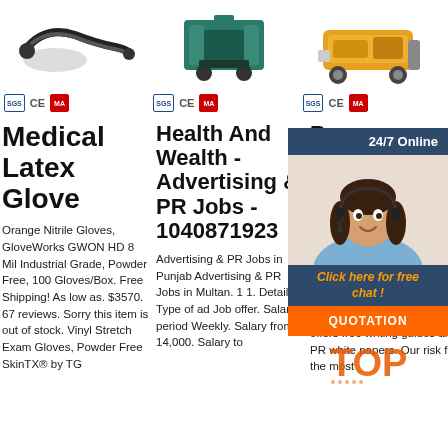[Figure (photo): Three product images in a row: rubber hose/cable, industrial machine (teal), yellow equipment on wheels]
[Figure (infographic): Certification badges row: three sets of blue badge, CE mark, red MA badge]
Medical Latex Glove
Orange Nitrile Gloves, GloveWorks GWON HD 8 Mil Industrial Grade, Powder Free, 100 Gloves/Box. Free Shipping! As low as. $3570. 67 reviews. Sorry this item is out of stock. Vinyl Stretch Exam Gloves, Powder Free SkinTX® by TG
Health And Wealth - Advertising & PR Jobs - 1040871923
Advertising & PR Jobs in Punjab Advertising & PR Jobs in Multan. 1 1. Details. Type of ad Job offer. Salary period Weekly. Salary from 14,000. Salary to
Be... Re... Di... Se... [W... Pr...
202... 7u2002·u2002It is a well-established service that also offers free writing guides and PR white papers. Our risk for the most
[Figure (photo): Chat widget with woman wearing headset, 24/7 Online header, orange click here for free chat CTA, QUOTATION button]